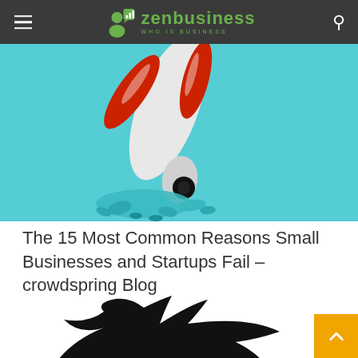zenbusiness — WHO IS BUSINESS
[Figure (photo): A white and red toy rocket crashed nose-down into teal/turquoise debris, on a cyan/teal background — representing startup failure]
The 15 Most Common Reasons Small Businesses and Startups Fail – crowdspring Blog
[Figure (photo): Black silhouette of a Twitter bird logo on a white background, partially cropped at bottom of page]